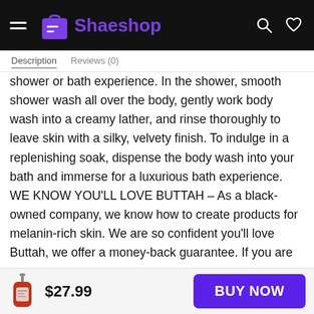Shaeshop
Description   Reviews (0)
shower or bath experience. In the shower, smooth shower wash all over the body, gently work body wash into a creamy lather, and rinse thoroughly to leave skin with a silky, velvety finish. To indulge in a replenishing soak, dispense the body wash into your bath and immerse for a luxurious bath experience. WE KNOW YOU'LL LOVE BUTTAH – As a black-owned company, we know how to create products for melanin-rich skin. We are so confident you'll love Buttah, we offer a money-back guarantee. If you are
$27.99
BUY NOW